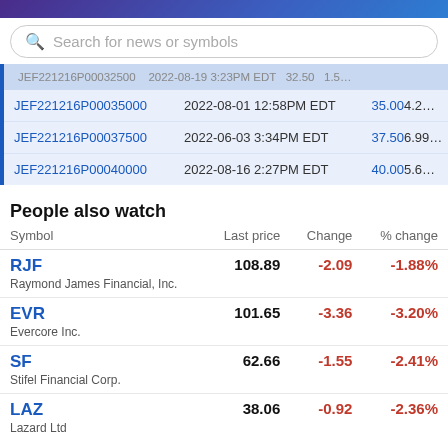[Figure (screenshot): Search bar with magnifying glass icon and placeholder text 'Search for news or symbols']
| Symbol | Date/Time | Strike | Last |
| --- | --- | --- | --- |
| JEF221216P00035000 | 2022-08-01 12:58PM EDT | 35.00 | 4.2… |
| JEF221216P00037500 | 2022-06-03 3:34PM EDT | 37.50 | 6.99… |
| JEF221216P00040000 | 2022-08-16 2:27PM EDT | 40.00 | 5.6… |
People also watch
| Symbol | Last price | Change | % change |
| --- | --- | --- | --- |
| RJF
Raymond James Financial, Inc. | 108.89 | -2.09 | -1.88% |
| EVR
Evercore Inc. | 101.65 | -3.36 | -3.20% |
| SF
Stifel Financial Corp. | 62.66 | -1.55 | -2.41% |
| LAZ
Lazard Ltd | 38.06 | -0.92 | -2.36% |